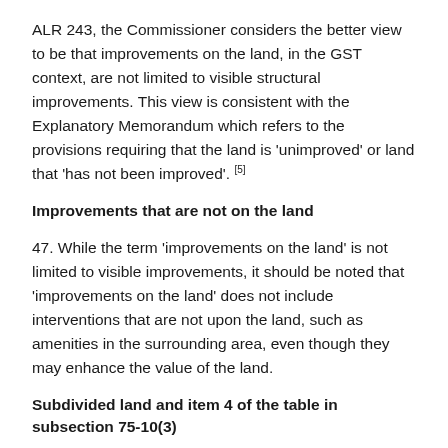ALR 243, the Commissioner considers the better view to be that improvements on the land, in the GST context, are not limited to visible structural improvements. This view is consistent with the Explanatory Memorandum which refers to the provisions requiring that the land is 'unimproved' or land that 'has not been improved'. [5]
Improvements that are not on the land
47. While the term 'improvements on the land' is not limited to visible improvements, it should be noted that 'improvements on the land' does not include interventions that are not upon the land, such as amenities in the surrounding area, even though they may enhance the value of the land.
Subdivided land and item 4 of the table in subsection 75-10(3)
48. In this part of the Ruling, the Commissioner considers whether a supply of a particular subdivided lot is ineligible for consideration under item 4 of subsection 75-10(3) because the larger area